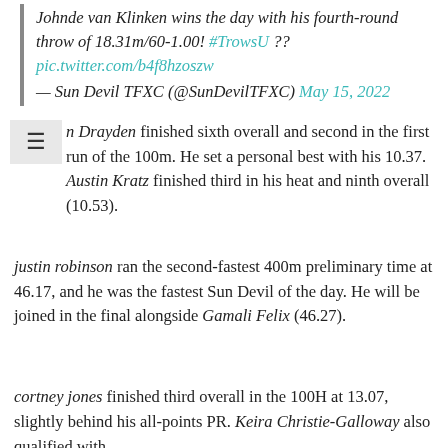Johnde van Klinken wins the day with his fourth-round throw of 18.31m/60-1.00! #TrowsU ?? pic.twitter.com/b4f8hzoszw — Sun Devil TFXC (@SunDevilTFXC) May 15, 2022
n Drayden finished sixth overall and second in the first run of the 100m. He set a personal best with his 10.37. Austin Kratz finished third in his heat and ninth overall (10.53).
justin robinson ran the second-fastest 400m preliminary time at 46.17, and he was the fastest Sun Devil of the day. He will be joined in the final alongside Gamali Felix (46.27).
cortney jones finished third overall in the 100H at 13.07, slightly behind his all-points PR. Keira Christie-Galloway also qualified with